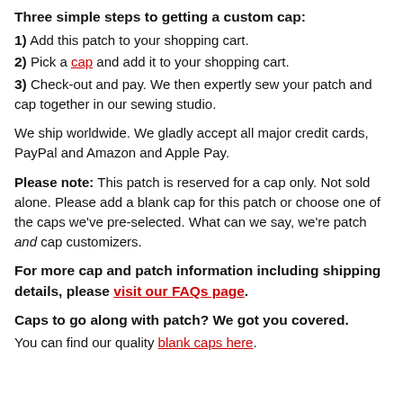Three simple steps to getting a custom cap:
1) Add this patch to your shopping cart.
2) Pick a cap and add it to your shopping cart.
3) Check-out and pay. We then expertly sew your patch and cap together in our sewing studio.
We ship worldwide. We gladly accept all major credit cards, PayPal and Amazon and Apple Pay.
Please note: This patch is reserved for a cap only. Not sold alone. Please add a blank cap for this patch or choose one of the caps we've pre-selected. What can we say, we're patch and cap customizers.
For more cap and patch information including shipping details, please visit our FAQs page.
Caps to go along with patch? We got you covered.
You can find our quality blank caps here.